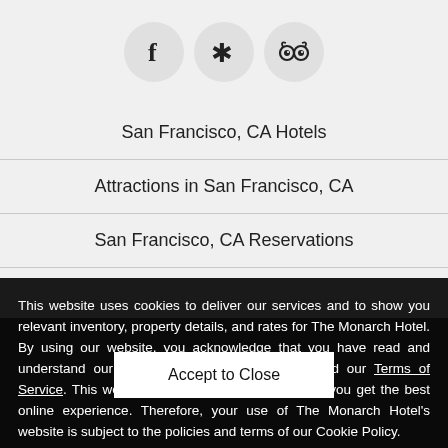[Figure (illustration): Three circular social media icons: Facebook (f), Yelp (burst star), and TripAdvisor (owl face), displayed in a row centered at the top of the page.]
San Francisco, CA Hotels
Attractions in San Francisco, CA
San Francisco, CA Reservations
This website uses cookies to deliver our services and to show you relevant inventory, property details, and rates for The Monarch Hotel. By using our website, you acknowledge that you have read and understand our Cookie Policy, Privacy Policy, and our Terms of Service. This website uses cookies to ensure that you get the best online experience. Therefore, your use of The Monarch Hotel's website is subject to the policies and terms of our Cookie Policy.
Accept to Close
Copyright © 2022 INNsight.com, Inc.